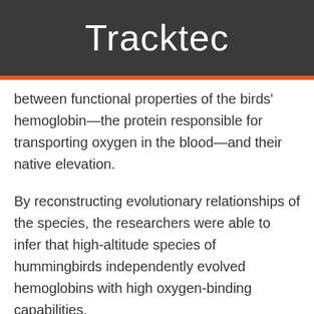Tracktec
between functional properties of the birds' hemoglobin—the protein responsible for transporting oxygen in the blood—and their native elevation.
By reconstructing evolutionary relationships of the species, the researchers were able to infer that high-altitude species of hummingbirds independently evolved hemoglobins with high oxygen-binding capabilities.
Most surprisingly, these parallel changes in protein function involved parallel mutational changes at the exact same amino acid sites. That repeated pattern is striking, Storz said—it